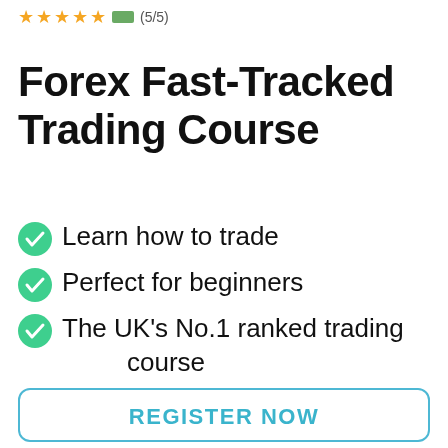★★★★★ (5/5)
Forex Fast-Tracked Trading Course
Learn how to trade
Perfect for beginners
The UK's No.1 ranked trading course
Complementary offer
REGISTER NOW